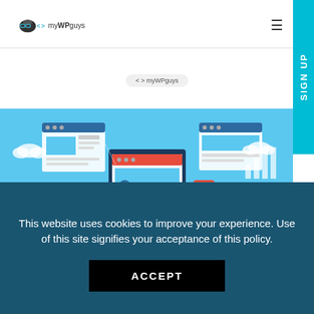myWPguys
[Figure (illustration): Website/CMS management illustration with browser windows, icons, and connectivity elements on a light blue background. A small watermark label reading '< > myWPguys' is visible.]
This website uses cookies to improve your experience. Use of this site signifies your acceptance of this policy.
ACCEPT